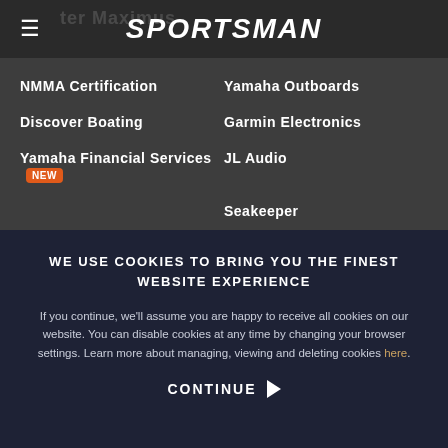SPORTSMAN
NMMA Certification
Yamaha Outboards
Discover Boating
Garmin Electronics
Yamaha Financial Services NEW
JL Audio
Seakeeper
INFORMATION
OFFICIAL STORE
WE USE COOKIES TO BRING YOU THE FINEST WEBSITE EXPERIENCE
If you continue, we’ll assume you are happy to receive all cookies on our website. You can disable cookies at any time by changing your browser settings. Learn more about managing, viewing and deleting cookies here.
CONTINUE